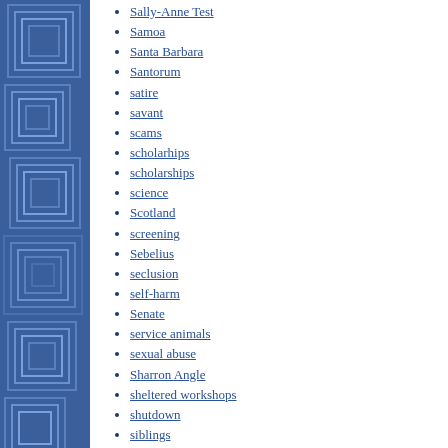Sally-Anne Test
Samoa
Santa Barbara
Santorum
satire
savant
scams
scholarhips
scholarships
science
Scotland
screening
Sebelius
seclusion
self-harm
Senate
service animals
sexual abuse
Sharron Angle
sheltered workshops
shutdown
siblings